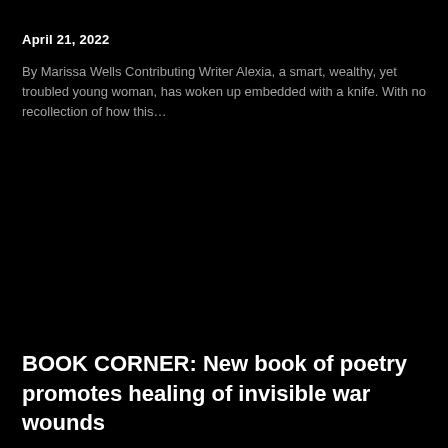April 21, 2022
By Marissa Wells Contributing Writer Alexia, a smart, wealthy, yet troubled young woman, has woken up embedded with a knife. With no recollection of how this…
BOOK CORNER: New book of poetry promotes healing of invisible war wounds